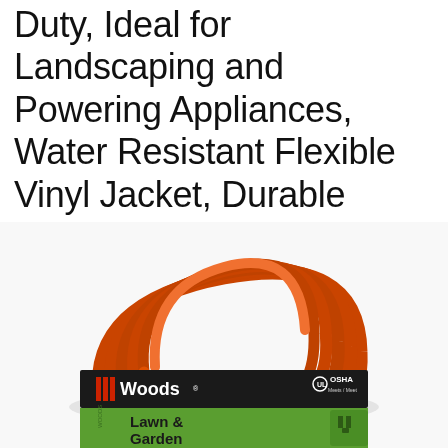Duty, Ideal for Landscaping and Powering Appliances, Water Resistant Flexible Vinyl Jacket, Durable Molded Plug, 50 Foot, Orange
[Figure (photo): Coiled orange extension cord with Woods brand label and 'Lawn & Garden' text, with OSHA logo visible on packaging]